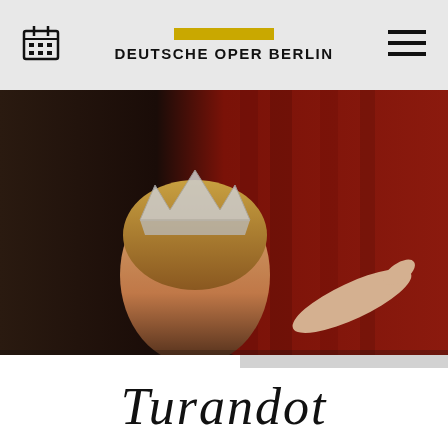DEUTSCHE OPER BERLIN
[Figure (screenshot): Hero image of a woman wearing a crown against a dark background with red curtains, and a pointing hand visible at right. Cookie consent overlay tabs showing 'Cookies' and 'Management'.]
COOKIE TRACKING FOR THE BEST DEUTSCHE OPER BERLIN EXPERIENCE
By selecting "Accept necessary cookies" you allow Deutsche Oper Berlin to use technically necessary cookies, pixels, tags and similar technologies. Selecting
Turandot